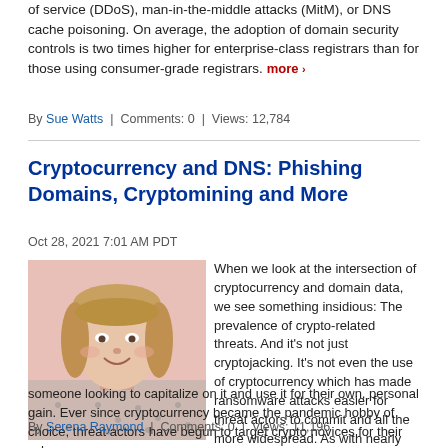of service (DDoS), man-in-the-middle attacks (MitM), or DNS cache poisoning. On average, the adoption of domain security controls is two times higher for enterprise-class registrars than for those using consumer-grade registrars. more ›
By Sue Watts | Comments: 0 | Views: 12,784
Cryptocurrency and DNS: Phishing Domains, Cryptomining and More
Oct 28, 2021 7:01 AM PDT
[Figure (photo): Headshot photo of a woman with blonde hair and bangs, smiling, wearing a patterned top]
When we look at the intersection of cryptocurrency and domain data, we see something insidious: The prevalence of crypto-related threats. And it's not just cryptojacking. It's not even the use of cryptocurrency which has made ransomware attacks easier for threat actors to commit and all the more widespread. As with nearly every trend, there is always someone looking to capitalize on it and use it for their own, personal gain. Ever since cryptocurrency became the pandemic hobby of choice, threat actors have begun to target crypto novices for their schemes. more ›
By Serena Raymond | Comments: 0 | Views: 11,196